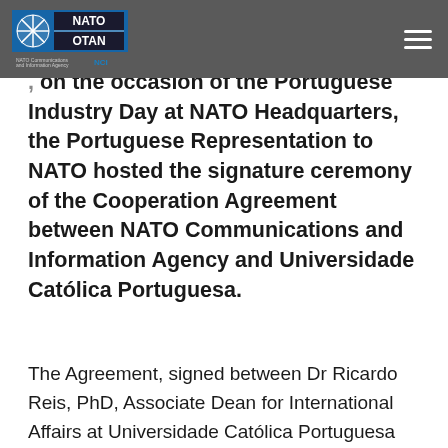[Figure (logo): NATO/OTAN and NATO Communications and Information Agency (NCI) logo on dark grey header bar]
...on the occasion of the Portuguese Industry Day at NATO Headquarters, the Portuguese Representation to NATO hosted the signature ceremony of the Cooperation Agreement between NATO Communications and Information Agency and Universidade Católica Portuguesa.
The Agreement, signed between Dr Ricardo Reis, PhD, Associate Dean for International Affairs at Universidade Católica Portuguesa